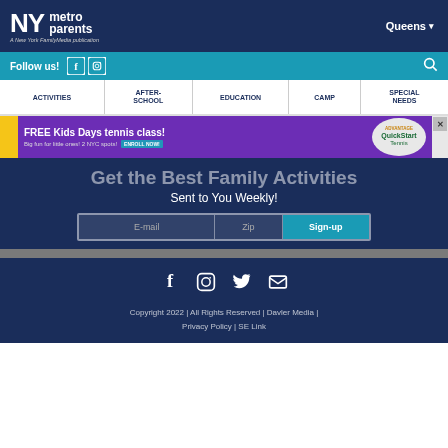NY metro parents | A New York FamilyMedia publication | Queens
Follow us!
ACTIVITIES | AFTER-SCHOOL | EDUCATION | CAMP | SPECIAL NEEDS
[Figure (infographic): Advertisement banner: FREE Kids Days tennis class! Big fun for little ones! 2 NYC spots! ENROLL NOW! Advantage QuickStart Tennis logo]
Get the Best Family Activities Sent to You Weekly!
E-mail | Zip | Sign-up form
Copyright 2022 | All Rights Reserved | Davler Media | Privacy Policy | SE Link